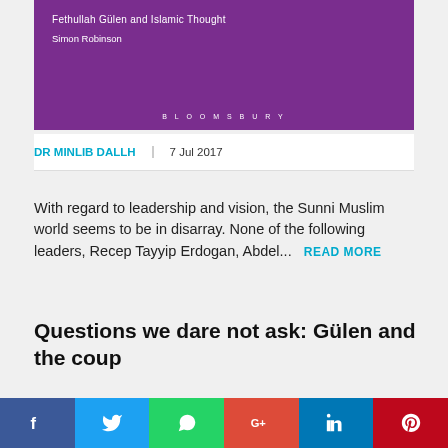[Figure (illustration): Book cover with purple background showing 'Fethullah Gülen and Islamic Thought' subtitle and 'Simon Robinson' as author, with BLOOMSBURY publisher at bottom]
DR MINLIB DALLH | 7 Jul 2017
With regard to leadership and vision, the Sunni Muslim world seems to be in disarray. None of the following leaders, Recep Tayyip Erdogan, Abdel... READ MORE
Questions we dare not ask: Gülen and the coup
[Figure (photo): Bottom portion of an image, dark tones, partially visible]
Social share buttons: Facebook, Twitter, WhatsApp, Google+, LinkedIn, Pinterest